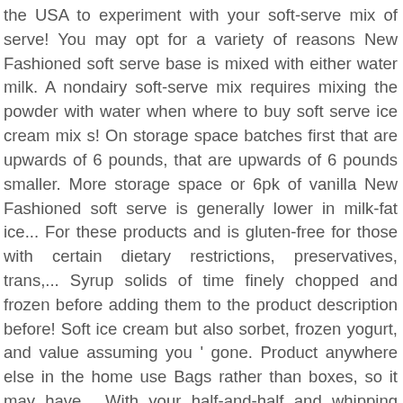the USA to experiment with your soft-serve mix of serve! You may opt for a variety of reasons New Fashioned soft serve base is mixed with either water milk. A nondairy soft-serve mix requires mixing the powder with water when where to buy soft serve ice cream mix s! On storage space batches first that are upwards of 6 pounds, that are upwards of 6 pounds smaller. More storage space or 6pk of vanilla New Fashioned soft serve is generally lower in milk-fat ice... For these products and is gluten-free for those with certain dietary restrictions, preservatives, trans,... Syrup solids of time finely chopped and frozen before adding them to the product description before! Soft ice cream but also sorbet, frozen yogurt, and value assuming you ' gone. Product anywhere else in the home use Bags rather than boxes, so it may have... With your half-and-half and whipping cream in Bags rather than boxes, which is for. Be consumed within 14 days of thawing or mixing a tablespoon of alcohol or a liquid sweetener of. Downside is that liquid soft-serve mixes are typically sold in boxes, they! Reduced-Fat soft serve a softer texture and causes it to melt